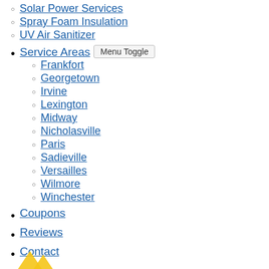Solar Power Services
Spray Foam Insulation
UV Air Sanitizer
Service Areas  Menu Toggle
Frankfort
Georgetown
Irvine
Lexington
Midway
Nicholasville
Paris
Sadieville
Versailles
Wilmore
Winchester
Coupons
Reviews
Contact